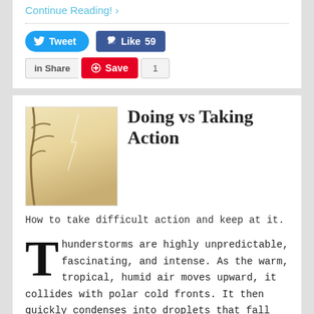Continue Reading! ›
[Figure (screenshot): Social sharing buttons: Tweet (Twitter), Like 59 (Facebook), Share (LinkedIn), Save (Pinterest), 1]
[Figure (photo): Thumbnail image of a misty/stormy sky with tree branches, warm golden tones]
Doing vs Taking Action
How to take difficult action and keep at it.
Thunderstorms are highly unpredictable, fascinating, and intense. As the warm, tropical, humid air moves upward, it collides with polar cold fronts. It then quickly condenses into droplets that fall down, growing and crashing into each other to begin what could turn into a thunderstorm. The high-